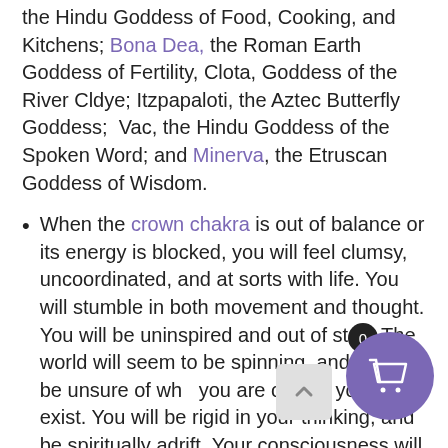the Hindu Goddess of Food, Cooking, and Kitchens; Bona Dea, the Roman Earth Goddess of Fertility, Clota, Goddess of the River Cldye; Itzpapaloti, the Aztec Butterfly Goddess;  Vac, the Hindu Goddess of the Spoken Word; and Minerva, the Etruscan Goddess of Wisdom.
When the crown chakra is out of balance or its energy is blocked, you will feel clumsy, uncoordinated, and at sorts with life. You will stumble in both movement and thought. You will be uninspired and out of step. The world will seem to be spinning, and you will be unsure of who you are or why you even exist. You will be rigid in your thinking, and be spiritually adrift. Your consciousness will be limited, and possibilities will not appear to you. You will have difficulty...